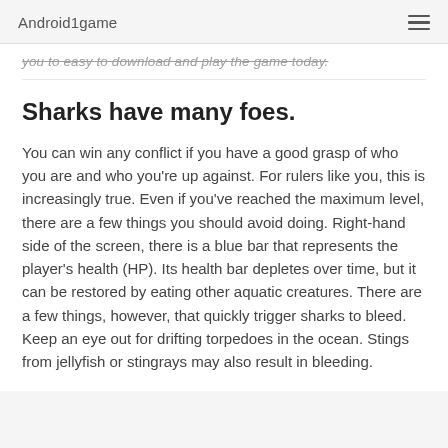Android1game
you to easy to download and play the game today.
Sharks have many foes.
You can win any conflict if you have a good grasp of who you are and who you're up against. For rulers like you, this is increasingly true. Even if you've reached the maximum level, there are a few things you should avoid doing. Right-hand side of the screen, there is a blue bar that represents the player's health (HP). Its health bar depletes over time, but it can be restored by eating other aquatic creatures. There are a few things, however, that quickly trigger sharks to bleed. Keep an eye out for drifting torpedoes in the ocean. Stings from jellyfish or stingrays may also result in bleeding.